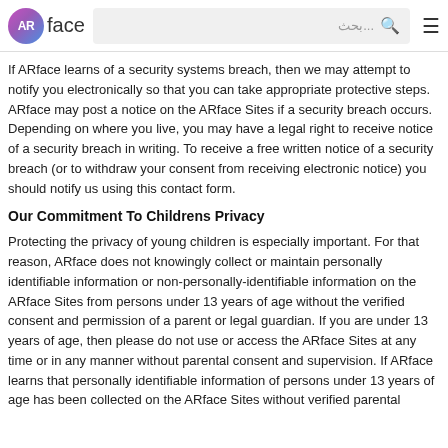ARface [search bar] [menu icon]
If ARface learns of a security systems breach, then we may attempt to notify you electronically so that you can take appropriate protective steps. ARface may post a notice on the ARface Sites if a security breach occurs. Depending on where you live, you may have a legal right to receive notice of a security breach in writing. To receive a free written notice of a security breach (or to withdraw your consent from receiving electronic notice) you should notify us using this contact form.
Our Commitment To Childrens Privacy
Protecting the privacy of young children is especially important. For that reason, ARface does not knowingly collect or maintain personally identifiable information or non-personally-identifiable information on the ARface Sites from persons under 13 years of age without the verified consent and permission of a parent or legal guardian. If you are under 13 years of age, then please do not use or access the ARface Sites at any time or in any manner without parental consent and supervision. If ARface learns that personally identifiable information of persons under 13 years of age has been collected on the ARface Sites without verified parental